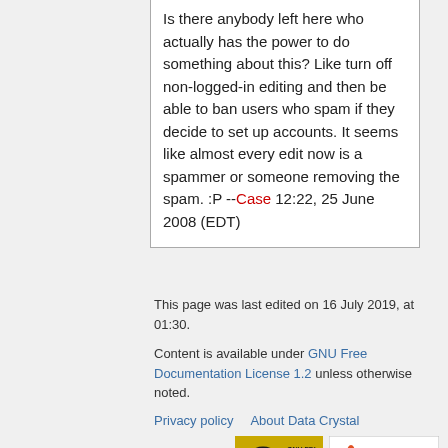Is there anybody left here who actually has the power to do something about this? Like turn off non-logged-in editing and then be able to ban users who spam if they decide to set up accounts. It seems like almost every edit now is a spammer or someone removing the spam. :P --Case 12:22, 25 June 2008 (EDT)
This page was last edited on 16 July 2019, at 01:30.
Content is available under GNU Free Documentation License 1.2 unless otherwise noted.
Privacy policy   About Data Crystal
Disclaimers